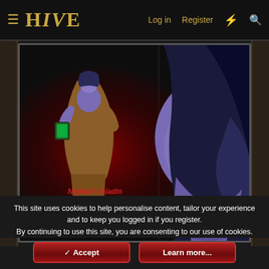HIVE — Log in | Register
[Figure (illustration): A Warcraft-style Night Elf Paladin character model shown in two views: a small full-body view on the left in a dark red background, and a large close-up face/head view on the right. The character has purple skin, a large brown coat, and green glowing accents. Text overlay reads: 'Nightelf Paladin by CTW']
This site uses cookies to help personalise content, tailor your experience and to keep you logged in if you register.
By continuing to use this site, you are consenting to our use of cookies.
✓ Accept
Learn more...